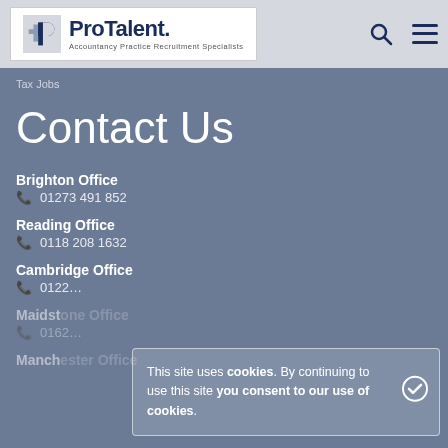ProTalent. Accountancy Practice Recruitment Specialists
Tax Jobs
Contact Us
Brighton Office
01273 491 852
Reading Office
0118 208 1632
Cambridge Office
0122...
Maidstone Office
0162...
Manchester Office
This site uses cookies. By continuing to use this site you consent to our use of cookies.